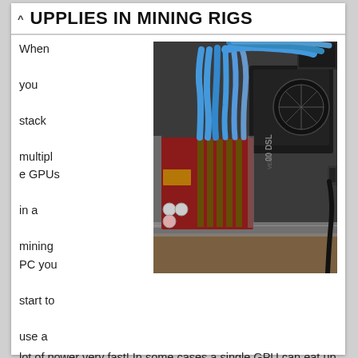UPPLIES IN MINING RIGS
When you stack multiple GPUs in a mining PC you start to use a lot of power very fast! In some cases a single GPU can eat up 200 watts of electricity. However, in most mining PCs the GPUs will only use around 160 watts.  Even still, 160 watts multiplied by six is 960 watts.  Add a motherboard, risers, CPU, hard disk, networking adapter, etc. and it doesn't take long to blow past 1100
[Figure (photo): A cryptocurrency mining rig with multiple GPUs connected by blue cables, a red motherboard with multiple GPU risers, and a large black power supply unit mounted on a metal frame.]